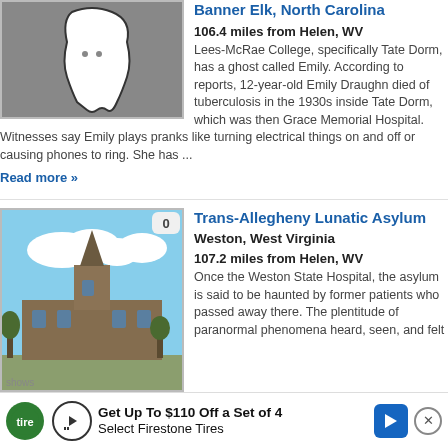[Figure (illustration): Stylized ghost/map shape silhouette in white on dark gray background]
Banner Elk, North Carolina
106.4 miles from Helen, WV
Lees-McRae College, specifically Tate Dorm, has a ghost called Emily. According to reports, 12-year-old Emily Draughn died of tuberculosis in the 1930s inside Tate Dorm, which was then Grace Memorial Hospital. Witnesses say Emily plays pranks like turning electrical things on and off or causing phones to ring. She has ...
Read more »
[Figure (photo): Photo of Trans-Allegheny Lunatic Asylum building, a large gothic stone building with steeple against blue sky]
Trans-Allegheny Lunatic Asylum
Weston, West Virginia
107.2 miles from Helen, WV
Once the Weston State Hospital, the asylum is said to be haunted by former patients who passed away there. The plentitude of paranormal phenomena heard, seen, and felt ...
shows
Get Up To $110 Off a Set of 4 Select Firestone Tires